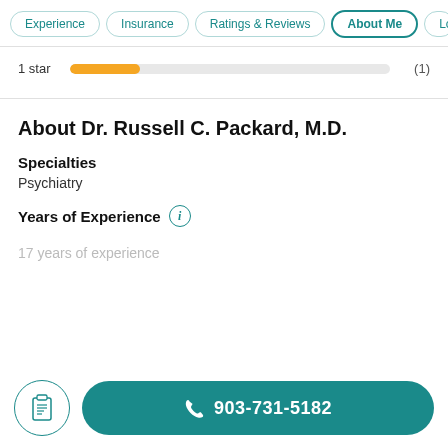Experience | Insurance | Ratings & Reviews | About Me | Loca…
[Figure (bar-chart): 1 star rating bar]
About Dr. Russell C. Packard, M.D.
Specialties
Psychiatry
Years of Experience
17 years of experience
903-731-5182